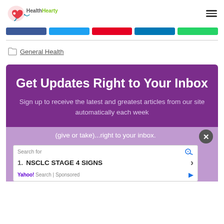HealthHearty
[Figure (infographic): Social share buttons bar: Facebook (blue), Twitter (light blue), Pinterest (red), LinkedIn (dark blue), WhatsApp (green)]
General Health
[Figure (infographic): Purple newsletter signup box: 'Get Updates Right to Your Inbox' with subtitle 'Sign up to receive the latest and greatest articles from our site automatically each week (give or take)...right to your inbox.' with a close button and an ad for 'NSCLC STAGE 4 SIGNS' from Yahoo! Search Sponsored]
Get Updates Right to Your Inbox
Sign up to receive the latest and greatest articles from our site automatically each week (give or take)...right to your inbox.
Search for
1. NSCLC STAGE 4 SIGNS
Yahoo! Search | Sponsored